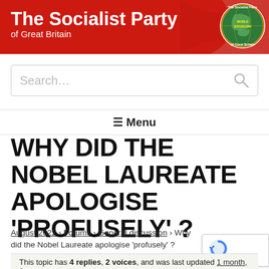[Figure (logo): The Socialist Party of Great Britain header banner with red background and circular World Socialism globe logo]
Search...
≡ Menu
WHY DID THE NOBEL LAUREATE APOLOGISE 'PROFUSELY' ?
August 2022 › Forums › General discussion › Why did the Nobel Laureate apologise 'profusely' ?
This topic has 4 replies, 2 voices, and was last updated 1 month, 1 ago by DJR